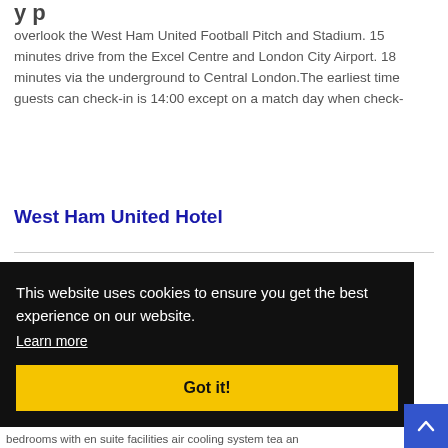overlook the West Ham United Football Pitch and Stadium. 15 minutes drive from the Excel Centre and London City Airport. 18 minutes via the underground to Central London.The earliest time guests can check-in is 14:00 except on a match day when check-
West Ham United Hotel
[Figure (screenshot): Cookie consent overlay with black background, text 'This website uses cookies to ensure you get the best experience on our website.', a 'Learn more' underlined link, and a yellow 'Got it!' button. Behind the overlay on the right side, partial text showing 'el', '75', 'nds', 'rt' is visible. A blue scroll-to-top button with an upward arrow is in the bottom-right corner.]
bedrooms with en suite facilities air cooling system tea an